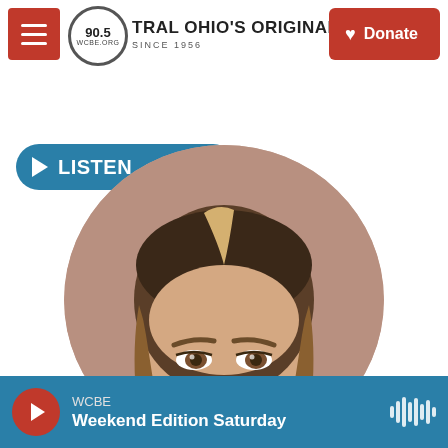[Figure (screenshot): WCBE 90.5 NPR station website screenshot showing navigation bar with hamburger menu, 90.5 WCBE logo, station tagline 'Central Ohio's Original NPR Station Since 1956', Donate button, Listen 41:58 audio player button, circular cropped headshot photo of a blonde woman, and bottom audio player bar for Weekend Edition Saturday.]
90.5 WCBE — CENTRAL OHIO'S ORIGINAL NPR STATION SINCE 1956
LISTEN • 41:58
WCBE — Weekend Edition Saturday